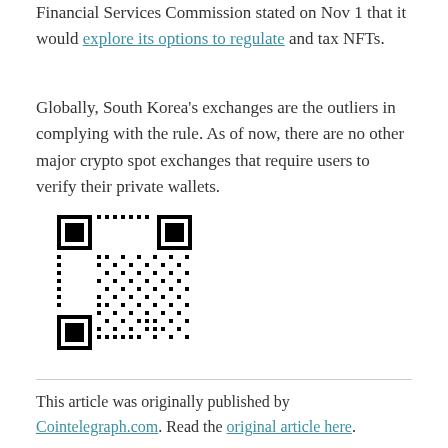Financial Services Commission stated on Nov 1 that it would explore its options to regulate and tax NFTs.
Globally, South Korea's exchanges are the outliers in complying with the rule. As of now, there are no other major crypto spot exchanges that require users to verify their private wallets.
[Figure (other): QR code image linking to related content]
This article was originally published by Cointelegraph.com. Read the original article here.